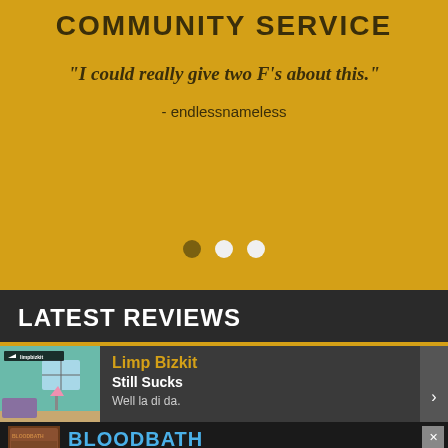COMMUNITY SERVICE
"I could really give two F's about this."
- endlessnameless
LATEST REVIEWS
Limp Bizkit
Still Sucks
Well la di da.
[Figure (photo): Advertisement banner for Bloodbath 'Survival of the Sickest' album, 'OUT SEP 9th']